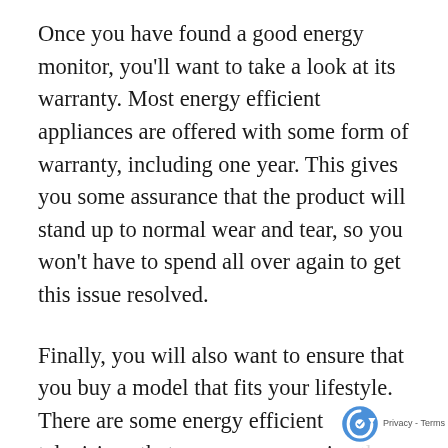Once you have found a good energy monitor, you'll want to take a look at its warranty. Most energy efficient appliances are offered with some form of warranty, including one year. This gives you some assurance that the product will stand up to normal wear and tear, so you won't have to spend all over again to get this issue resolved.
Finally, you will also want to ensure that you buy a model that fits your lifestyle. There are some energy efficient televisions that are more expensive than others, but they might not fit in your living room nicely, depending on your furniture and the size of the television. It's a g idea to find out which types of models cost m
[Figure (other): Google reCAPTCHA logo with Privacy and Terms links watermark in the bottom right corner]